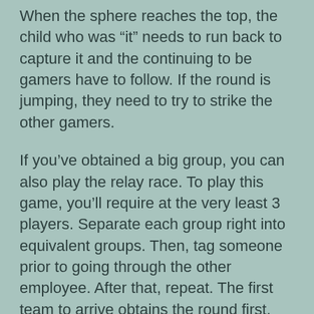When the sphere reaches the top, the child who was “it” needs to run back to capture it and the continuing to be gamers have to follow. If the round is jumping, they need to try to strike the other gamers.
If you’ve obtained a big group, you can also play the relay race. To play this game, you’ll require at the very least 3 players. Separate each group right into equivalent groups. Then, tag someone prior to going through the other employee. After that, repeat. The first team to arrive obtains the round first. The champion of the race is the one with the lowest score.